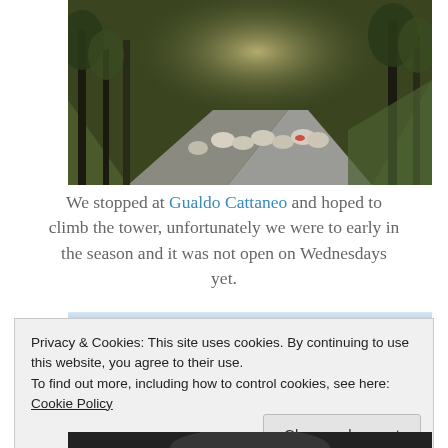[Figure (photo): Sheep walking along a narrow country road lined with trees, shot in daylight with sunlight filtering through bare branches]
We stopped at Gualdo Cattaneo and hoped to climb the tower, unfortunately we were to early in the season and it was not open on Wednesdays yet.
[Figure (photo): Partial view of a blue sky photo, partially obscured by cookie consent banner]
Privacy & Cookies: This site uses cookies. By continuing to use this website, you agree to their use.
To find out more, including how to control cookies, see here: Cookie Policy
[Figure (photo): Bottom portion of another photo showing dark tones, partially visible]